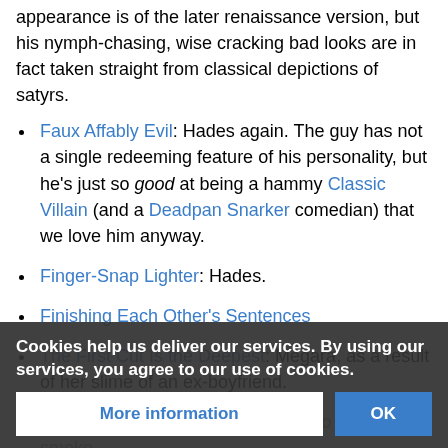appearance is of the later renaissance version, but his nymph-chasing, wise cracking bad looks are in fact taken straight from classical depictions of satyrs.
Faux Affably Evil: Hades again. The guy has not a single redeeming feature of his personality, but he's just so good at being a hammy Classic Villain (and a Deadpan Snarker comedian) that we love him anyway.
Finger-Snap Lighter: Hades.
Finishing Each Other's Sentences
The First Cut Is the Deepest: Megara, as a result of her slime of an ex-boyfriend.
Fog Feet: Hades' robes dissolve into wisps of smoke. ...are "trapped", you can hear a s... last under- rock sentenc...
Cookies help us deliver our services. By using our services, you agree to our use of cookies.